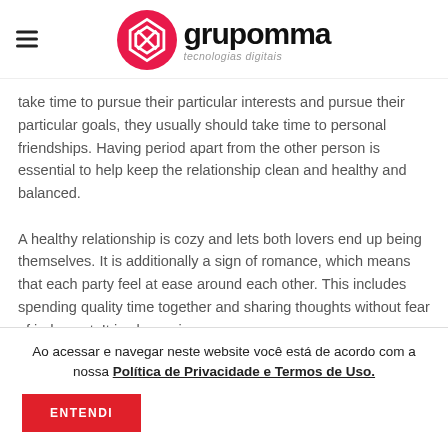grupomma tecnologias digitais
take time to pursue their particular interests and pursue their particular goals, they usually should take time to personal friendships. Having period apart from the other person is essential to help keep the relationship clean and healthy and balanced.

A healthy relationship is cozy and lets both lovers end up being themselves. It is additionally a sign of romance, which means that each party feel at ease around each other. This includes spending quality time together and sharing thoughts without fear of judgment. It is also a sign
Ao acessar e navegar neste website você está de acordo com a nossa Política de Privacidade e Termos de Uso.
ENTENDI